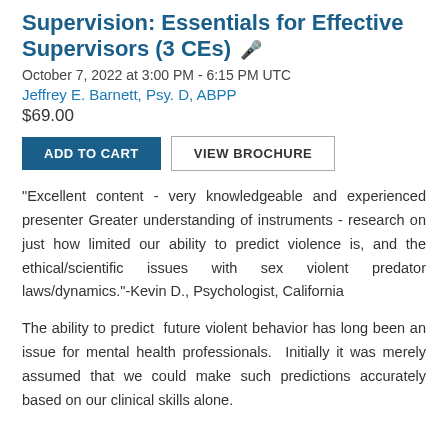Supervision: Essentials for Effective Supervisors (3 CEs) 🎤
October 7, 2022 at 3:00 PM - 6:15 PM UTC
Jeffrey E. Barnett, Psy. D, ABPP
$69.00
ADD TO CART | VIEW BROCHURE
"Excellent content - very knowledgeable and experienced presenter Greater understanding of instruments - research on just how limited our ability to predict violence is, and the ethical/scientific issues with sex violent predator laws/dynamics."-Kevin D., Psychologist, California
The ability to predict  future violent behavior has long been an issue for mental health professionals.  Initially it was merely assumed that we could make such predictions accurately based on our clinical skills alone.